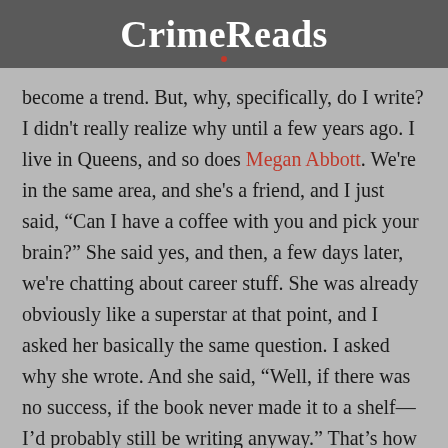CrimeReads
become a trend. But, why, specifically, do I write? I didn't really realize why until a few years ago. I live in Queens, and so does Megan Abbott. We're in the same area, and she's a friend, and I just said, “Can I have a coffee with you and pick your brain?” She said yes, and then, a few days later, we're chatting about career stuff. She was already obviously like a superstar at that point, and I asked her basically the same question. I asked why she wrote. And she said, “Well, if there was no success, if the book never made it to a shelf—I'd probably still be writing anyway.” That's how I feel. I'd be doing this anyway. I'd be writing these stories anyway. At a certain point, yeah, you want to get paid,